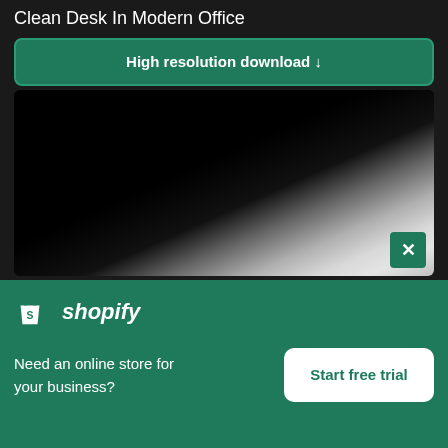Clean Desk In Modern Office
High resolution download ↓
[Figure (photo): Partial photo of a clean desk in a modern office showing a dark upper-left area fading to a light gray-white desk surface in the lower-right.]
[Figure (logo): Shopify logo with shopping bag icon and italic wordmark]
Need an online store for your business?
Start free trial